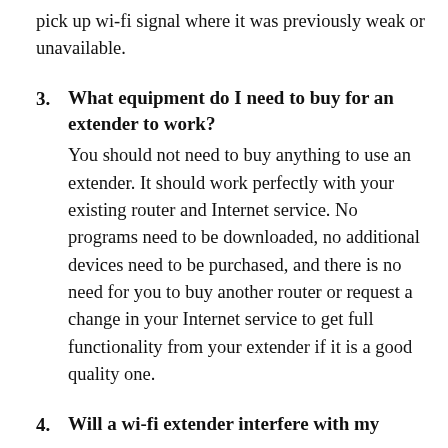pick up wi-fi signal where it was previously weak or unavailable.
3. What equipment do I need to buy for an extender to work? You should not need to buy anything to use an extender. It should work perfectly with your existing router and Internet service. No programs need to be downloaded, no additional devices need to be purchased, and there is no need for you to buy another router or request a change in your Internet service to get full functionality from your extender if it is a good quality one.
4. Will a wi-fi extender interfere with my